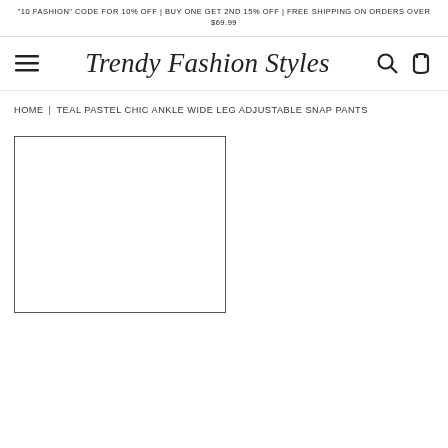"10 FASHION" CODE FOR 10% OFF | BUY ONE GET 2ND 15% OFF | FREE SHIPPING ON ORDERS OVER $69.99
[Figure (logo): Trendy Fashion Styles script logo with hamburger menu, search icon, and cart icon]
HOME > TEAL PASTEL CHIC ANKLE WIDE LEG ADJUSTABLE SNAP PANTS
[Figure (photo): Product image placeholder (empty bordered rectangle) for Teal Pastel Chic Ankle Wide Leg Adjustable Snap Pants]